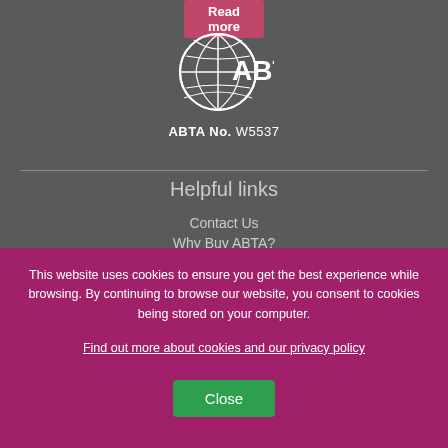[Figure (logo): ABTA logo — circular globe-like icon with white lines on dark background, with text 'ABTA No. W5537' below]
Helpful links
Contact Us
Why Buy ABTA?
This website uses cookies to ensure you get the best experience while browsing. By continuing to browse our website, you consent to cookies being stored on your computer.
Find out more about cookies and our privacy policy